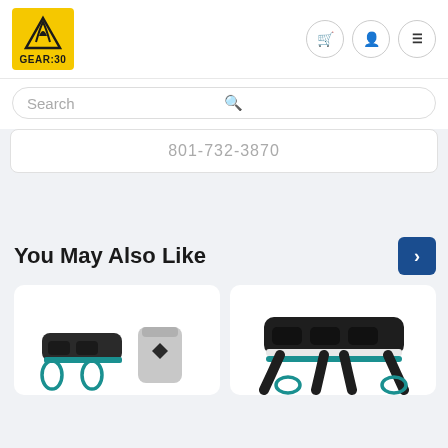[Figure (logo): GEAR:30 logo - yellow background with mountain/flame icon and text GEAR:30]
[Figure (screenshot): Navigation icons: shopping cart, user profile, hamburger menu]
Search
801-732-3870
You May Also Like
[Figure (photo): Climbing harness product with teal carabiners and small chalk bag]
[Figure (photo): Black climbing harness with teal carabiners, wider padded design]